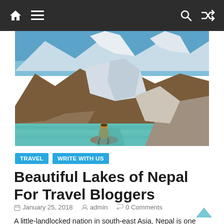Navigation bar with home, menu, search, and shuffle icons
[Figure (photo): A traveler sitting on a rock by a turquoise glacial lake surrounded by snow-capped mountains and rocky terrain in Nepal]
TRAVEL   WRITE WITH US
Beautiful Lakes of Nepal For Travel Bloggers
January 25, 2018   admin   0 Comments
A little-landlocked nation in south-east Asia, Nepal is one